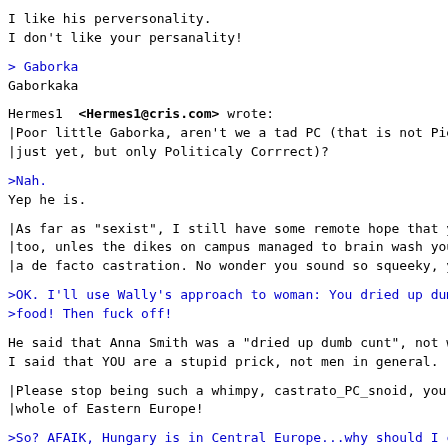I like his perversonality.
I don't like your persanality!
> Gaborka
Gaborkaka
Hermes1  <Hermes1@cris.com> wrote:
|Poor little Gaborka, aren't we a tad PC (that is not Piece
|just yet, but only Politicaly Corrrect)?
>Nah.
Yep he is.
|As far as "sexist", I still have some remote hope that you
|too, unles the dikes on campus managed to brain wash you t
|a de facto castration. No wonder you sound so squeeky, ya
>OK. I'll use Wally's approach to woman: You dried up dumb
>food! Then fuck off!
He said that Anna Smith was a "dried up dumb cunt", not wom
I said that YOU are a stupid prick, not men in general.
|Please stop being such a whimpy, castrato_PC_snoid, you br
|whole of Eastern Europe!
>So? AFAIK, Hungary is in Central Europe...why should I car
>Europe?
Because as far as the advanced West is concerned, the squee
YOUR posts emits from the general direction of the East.